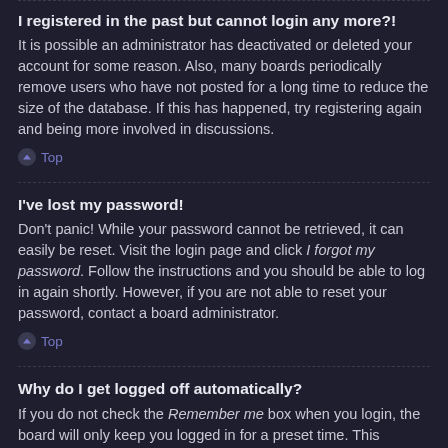I registered in the past but cannot login any more?!
It is possible an administrator has deactivated or deleted your account for some reason. Also, many boards periodically remove users who have not posted for a long time to reduce the size of the database. If this has happened, try registering again and being more involved in discussions.
Top
I've lost my password!
Don't panic! While your password cannot be retrieved, it can easily be reset. Visit the login page and click I forgot my password. Follow the instructions and you should be able to log in again shortly. However, if you are not able to reset your password, contact a board administrator.
Top
Why do I get logged off automatically?
If you do not check the Remember me box when you login, the board will only keep you logged in for a preset time. This prevents misuse of your account by anyone else. To stay logged in, check the